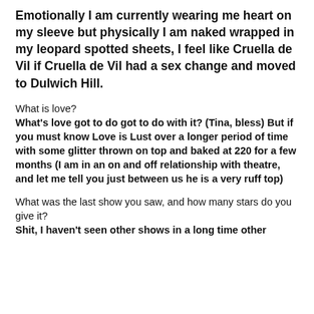Emotionally I am currently wearing me heart on my sleeve but physically I am naked wrapped in my leopard spotted sheets, I feel like Cruella de Vil if Cruella de Vil had a sex change and moved to Dulwich Hill.
What is love?
What's love got to do got to do with it? (Tina, bless) But if you must know Love is Lust over a longer period of time with some glitter thrown on top and baked at 220 for a few months (I am in an on and off relationship with theatre, and let me tell you just between us he is a very ruff top)
What was the last show you saw, and how many stars do you give it?
Shit, I haven't seen other shows in a long time other